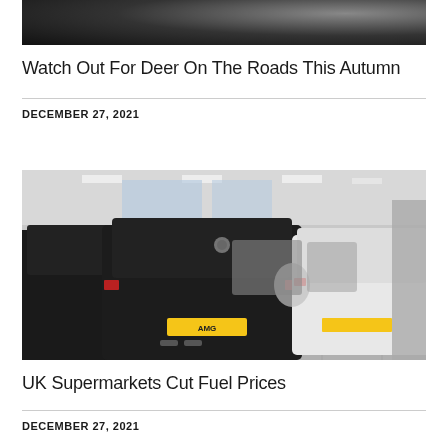[Figure (photo): Top portion of a car photo cropped at the top of the page, dark vehicle against dark background]
Watch Out For Deer On The Roads This Autumn
DECEMBER 27, 2021
[Figure (photo): Interior of a car dealership showroom with multiple cars including a black Mercedes-AMG with yellow license plate and a white car, arranged on a tiled floor under bright ceiling lights]
UK Supermarkets Cut Fuel Prices
DECEMBER 27, 2021